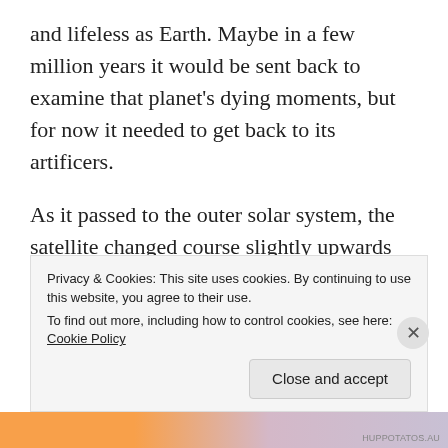and lifeless as Earth. Maybe in a few million years it would be sent back to examine that planet's dying moments, but for now it needed to get back to its artificers.
As it passed to the outer solar system, the satellite changed course slightly upwards and to the left, moving on a heading towards Galactic North. It verified its trajectory by communicating with a Galactic Positioning Satellite fifty thousand light years above the center of the Milky Way Galaxy, and from there it engaged its full speed to travel back from whence it came.
Privacy & Cookies: This site uses cookies. By continuing to use this website, you agree to their use.
To find out more, including how to control cookies, see here: Cookie Policy